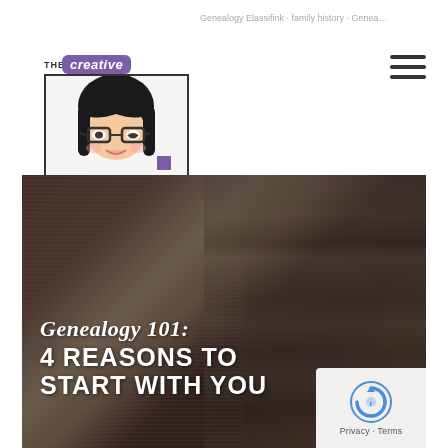[Figure (logo): The Creative Family Historian logo — cartoon girl with glasses, framed in a square border, with 'THE creative' badge in purple and 'FAMILY HISTORIAN' text below]
[Figure (illustration): Hamburger menu icon (three horizontal lines) in upper right of header]
[Figure (photo): Hero image with dark overlay showing an open book with pages and a bookshelf in background. Text overlay reads 'Genealogy 101: 4 REASONS TO START WITH YOU']
Genealogy 101: 4 REASONS TO START WITH YOU
[Figure (other): reCAPTCHA privacy badge in lower right corner with 'Privacy - Terms' text]